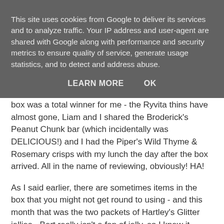This site uses cookies from Google to deliver its services and to analyze traffic. Your IP address and user-agent are shared with Google along with performance and security metrics to ensure quality of service, generate usage statistics, and to detect and address abuse.
LEARN MORE   OK
box was a total winner for me - the Ryvita thins have almost gone, Liam and I shared the Broderick's Peanut Chunk bar (which incidentally was DELICIOUS!) and I had the Piper's Wild Thyme & Rosemary crisps with my lunch the day after the box arrived. All in the name of reviewing, obviously! HA!
As I said earlier, there are sometimes items in the box that you might not get round to using - and this month that was the two packets of Hartley's Glitter jellies - Bert really isn't a fan of jelly, so I knew it would just sit in our cupboard - instead I gave them to my twin sister who is a teacher in a Primary school